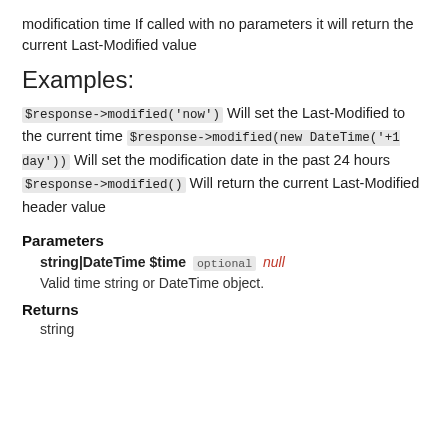modification time If called with no parameters it will return the current Last-Modified value
Examples:
$response->modified('now') Will set the Last-Modified to the current time $response->modified(new DateTime('+1 day')) Will set the modification date in the past 24 hours $response->modified() Will return the current Last-Modified header value
Parameters
string|DateTime $time optional null
Valid time string or DateTime object.
Returns
string